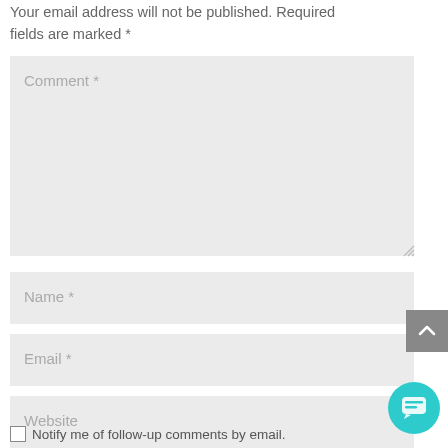Your email address will not be published. Required fields are marked *
Comment *
Name *
Email *
Website
Notify me of follow-up comments by email.